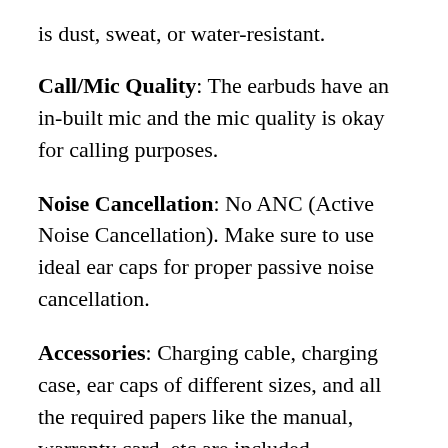is dust, sweat, or water-resistant.
Call/Mic Quality: The earbuds have an in-built mic and the mic quality is okay for calling purposes.
Noise Cancellation: No ANC (Active Noise Cancellation). Make sure to use ideal ear caps for proper passive noise cancellation.
Accessories: Charging cable, charging case, ear caps of different sizes, and all the required papers like the manual, warranty card, etc are included.